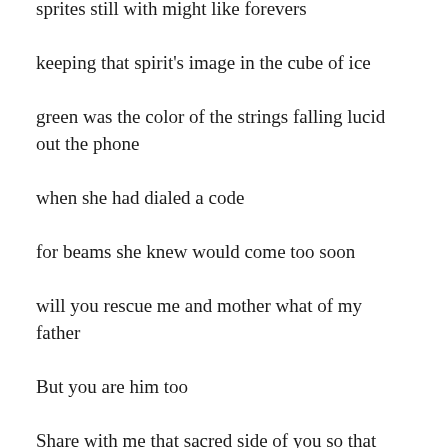sprites still with might like forevers
keeping that spirit's image in the cube of ice
green was the color of the strings falling lucid out the phone
when she had dialed a code
for beams she knew would come too soon
will you rescue me and mother what of my father
But you are him too
Share with me that sacred side of you so that